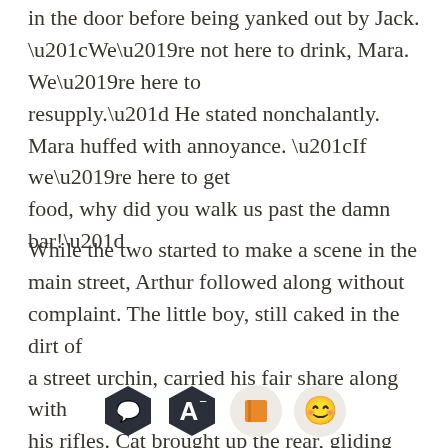in the door before being yanked out by Jack. “We’re not here to drink, Mara. We’re here to resupply.” He stated nonchalantly. Mara huffed with annoyance. “If we’re here to get food, why did you walk us past the damn bar!”
While the two started to make a scene in the main street, Arthur followed along without complaint. The little boy, still caked in the dirt of a street urchin, carried his fair share along with his rifles. Cat brought up the rear, gliding along silently like a wraith.
[Figure (infographic): App toolbar with four icons: dark hexagon chat bubble, dark hexagon letter A with minus superscript, light circle orange book, light circle smiling emoji face]